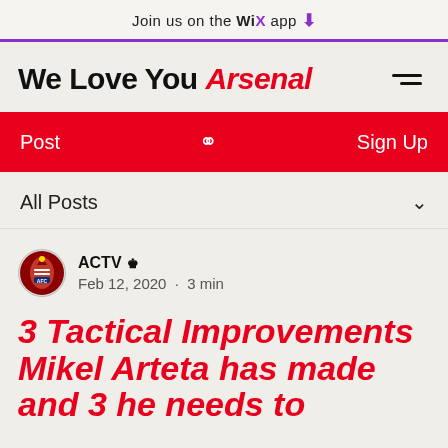Join us on the WiX app ↓
We Love You Arsenal
Post  🔍  Sign Up
All Posts
ACTV 👑
Feb 12, 2020 · 3 min
3 Tactical Improvements Mikel Arteta has made and 3 he needs to